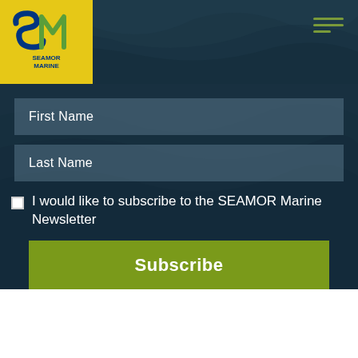[Figure (logo): SEAMOR Marine logo: SM letters in blue and green on yellow background with 'SEAMOR MARINE' text]
First Name
Last Name
I would like to subscribe to the SEAMOR Marine Newsletter
Subscribe
PRODUCTS